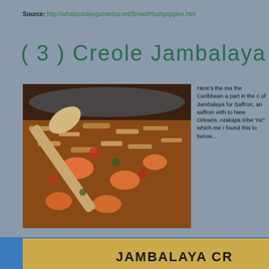Source: http://whatscookingamerica.net/Bread/Hushpuppies.htm
( 3 ) Creole Jambalaya
[Figure (photo): A pan of Creole Jambalaya with shrimp, rice, and sausage, being stirred with a wooden spoon]
Here's the ma the Caribbean a part in the c of Jambalaya for Saffron, an saffron with to New Orleans. Atakapa tribe Ya!" which me I found this lo below...
[Figure (photo): Bottom portion showing a Jambalaya Creole product label or package]